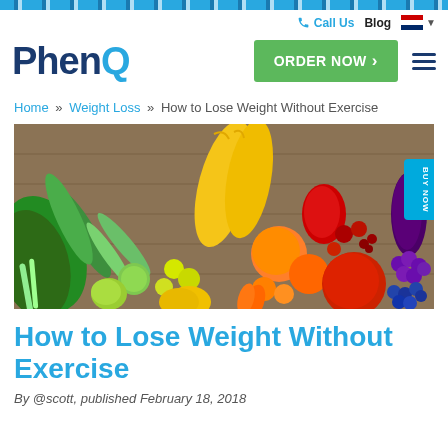PhenQ — Call Us  Blog
[Figure (logo): PhenQ logo with blue Q letter, ORDER NOW green button, hamburger menu]
Home » Weight Loss » How to Lose Weight Without Exercise
[Figure (photo): Colorful assortment of fruits and vegetables arranged in rainbow order on wooden table — cucumbers, snap peas, corn, peppers, tomatoes, eggplant, grapes, blueberries]
How to Lose Weight Without Exercise
By @scott, published February 18, 2018